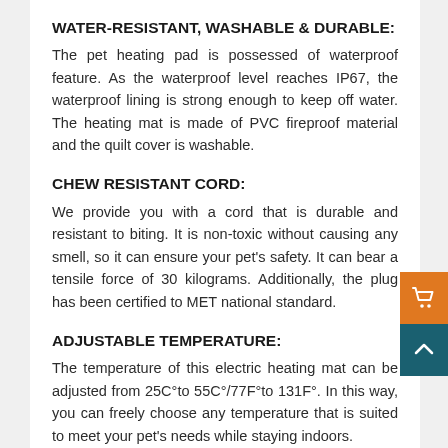WATER-RESISTANT, WASHABLE & DURABLE:
The pet heating pad is possessed of waterproof feature. As the waterproof level reaches IP67, the waterproof lining is strong enough to keep off water. The heating mat is made of PVC fireproof material and the quilt cover is washable.
CHEW RESISTANT CORD:
We provide you with a cord that is durable and resistant to biting. It is non-toxic without causing any smell, so it can ensure your pet's safety. It can bear a tensile force of 30 kilograms. Additionally, the plug has been certified to MET national standard.
ADJUSTABLE TEMPERATURE:
The temperature of this electric heating mat can be adjusted from 25C°to 55C°/77F°to 131F°. In this way, you can freely choose any temperature that is suited to meet your pet's needs while staying indoors.